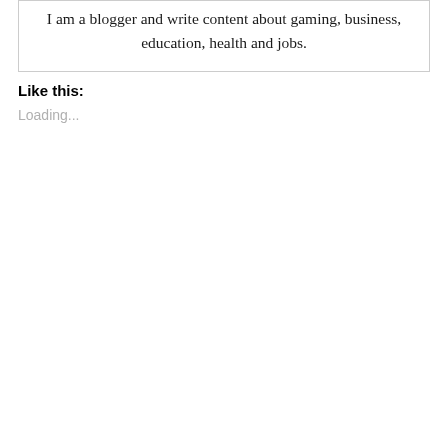I am a blogger and write content about gaming, business, education, health and jobs.
Like this:
Loading...